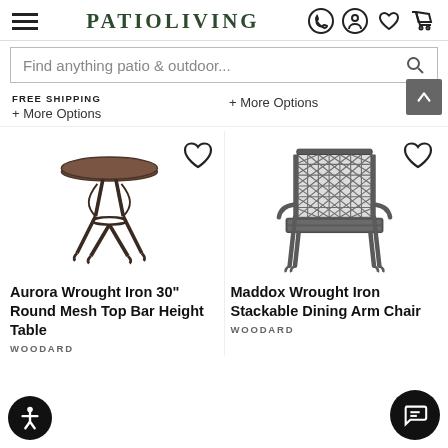PATIOLIVING
Find anything patio & outdoor...
FREE SHIPPING
+ More Options
+ More Options
[Figure (photo): Aurora Wrought Iron 30" Round Mesh Top Bar Height Table - a round-top bistro table with wrought iron pedestal base]
[Figure (photo): Maddox Wrought Iron Stackable Dining Arm Chair - a wrought iron dining chair with lattice back]
Aurora Wrought Iron 30" Round Mesh Top Bar Height Table
WOODARD
Maddox Wrought Iron Stackable Dining Arm Chair
WOODARD